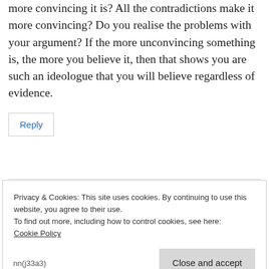more convincing it is? All the contradictions make it more convincing? Do you realise the problems with your argument? If the more unconvincing something is, the more you believe it, then that shows you are such an ideologue that you will believe regardless of evidence.
Reply
Privacy & Cookies: This site uses cookies. By continuing to use this website, you agree to their use.
To find out more, including how to control cookies, see here:
Cookie Policy
Close and accept
nn(j33a3)